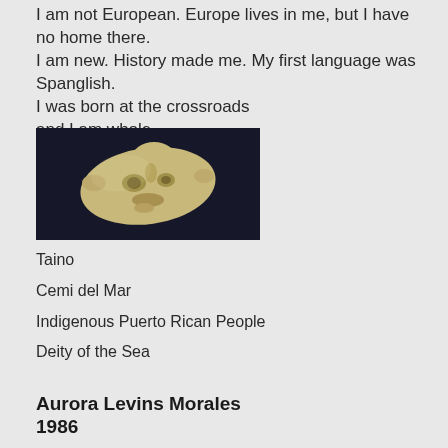I am not European. Europe lives in me, but I have no home there.
I am new. History made me. My first language was Spanglish.
I was born at the crossroads
and I am whole.
[Figure (photo): Photograph of a Taino stone artifact (Cemi del Mar) — a small carved stone face/mask resting on a dark background. The carved object is pale yellow-tan in color with facial features.]
Taino
Cemi del Mar
Indigenous Puerto Rican People
Deity of the Sea
Aurora Levins Morales
1986